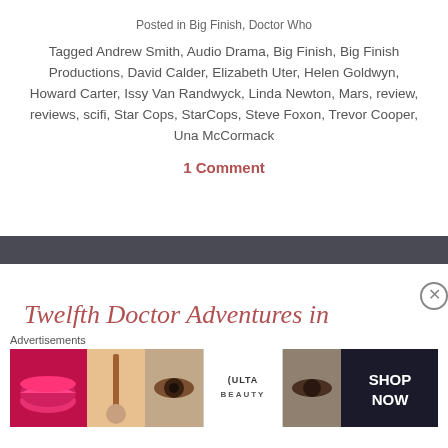Posted in Big Finish, Doctor Who
Tagged Andrew Smith, Audio Drama, Big Finish, Big Finish Productions, David Calder, Elizabeth Uter, Helen Goldwyn, Howard Carter, Issy Van Randwyck, Linda Newton, Mars, review, reviews, scifi, Star Cops, StarCops, Steve Foxon, Trevor Cooper, Una McCormack
1 Comment
Twelfth Doctor Adventures in
[Figure (screenshot): Advertisement banner showing beauty/cosmetics imagery with ULTA logo and SHOP NOW text]